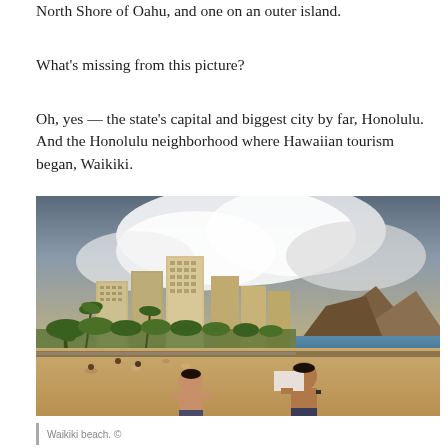North Shore of Oahu, and one on an outer island.
What's missing from this picture?
Oh, yes — the state's capital and biggest city by far, Honolulu. And the Honolulu neighborhood where Hawaiian tourism began, Waikiki.
[Figure (photo): Waikiki beach scene with two shirtless men in the foreground, beachgoers on the sand, Waikiki hotel towers in the background, Diamond Head crater visible, dramatic cloudy sky overhead, ocean on the right.]
Waikiki beach. © [partial caption cut off]